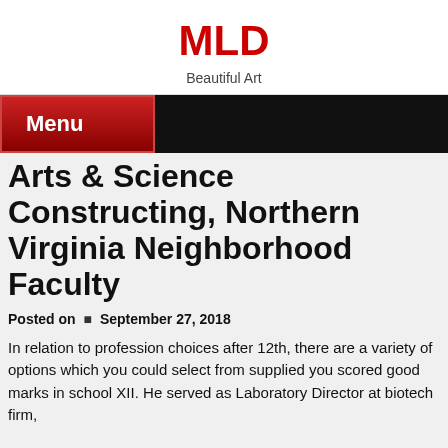MLD
Beautiful Art
Menu
Arts & Science Constructing, Northern Virginia Neighborhood Faculty
Posted on ■ September 27, 2018
In relation to profession choices after 12th, there are a variety of options which you could select from supplied you scored good marks in school XII. He served as Laboratory Director at biotech firm,